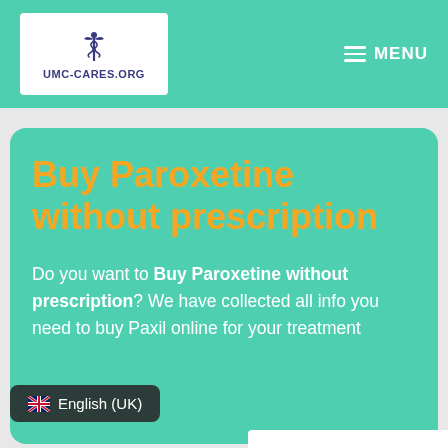[Figure (logo): UMC-CARES.ORG medical logo with caduceus symbol in blue/purple on white background]
≡ MENU
Buy Paroxetine without prescription
Do you want to Buy Paroxetine without prescription? We have collected all info you need to buy Paxil online for your treatment
🇬🇧 English (UK)